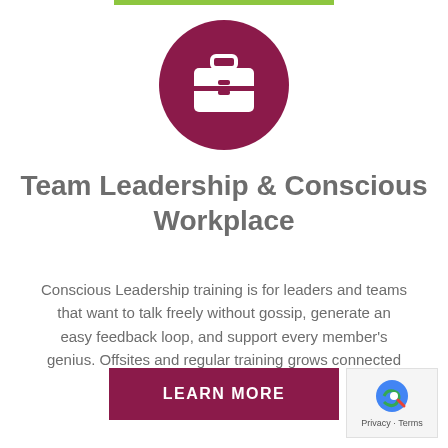[Figure (illustration): Dark magenta/maroon circle with white briefcase/toolbox icon in the center]
Team Leadership & Conscious Workplace
Conscious Leadership training is for leaders and teams that want to talk freely without gossip, generate an easy feedback loop, and support every member's genius. Offsites and regular training grows connected teams.
LEARN MORE